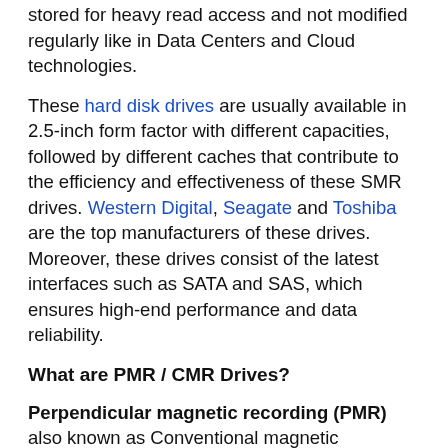stored for heavy read access and not modified regularly like in Data Centers and Cloud technologies.
These hard disk drives are usually available in 2.5-inch form factor with different capacities, followed by different caches that contribute to the efficiency and effectiveness of these SMR drives. Western Digital, Seagate and Toshiba are the top manufacturers of these drives. Moreover, these drives consist of the latest interfaces such as SATA and SAS, which ensures high-end performance and data reliability.
What are PMR / CMR Drives?
Perpendicular magnetic recording (PMR) also known as Conventional magnetic recording (CMR) is a magnetic storage data recording technology which uses non-overlapping magnetic tracks parallel to